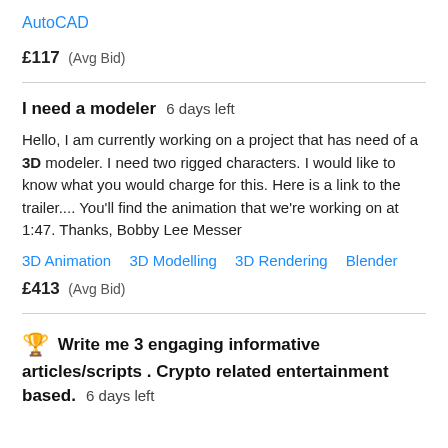AutoCAD
£117  (Avg Bid)
I need a modeler  6 days left
Hello, I am currently working on a project that has need of a 3D modeler. I need two rigged characters. I would like to know what you would charge for this. Here is a link to the trailer.... You'll find the animation that we're working on at 1:47. Thanks, Bobby Lee Messer
3D Animation   3D Modelling   3D Rendering   Blender
£413  (Avg Bid)
🏆 Write me 3 engaging informative articles/scripts . Crypto related entertainment based.  6 days left